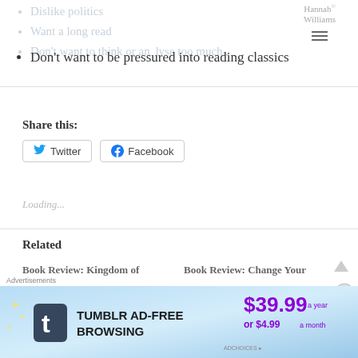Dislike politics
Want a long read
Don't want to think or analyse too much..
Don't want to be pressured into reading classics
Share this:
Loading...
Related
Book Review: Kingdom of
Book Review: Change Your
Advertisements
[Figure (screenshot): Tumblr Ad-Free Browsing advertisement banner showing price $39.99 a year or $4.99 a month]